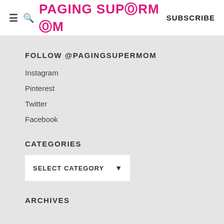≡ 🔍 PAGING SUPERMOM  SUBSCRIBE
FOLLOW @PAGINGSUPERMOM
Instagram
Pinterest
Twitter
Facebook
CATEGORIES
SELECT CATEGORY
ARCHIVES